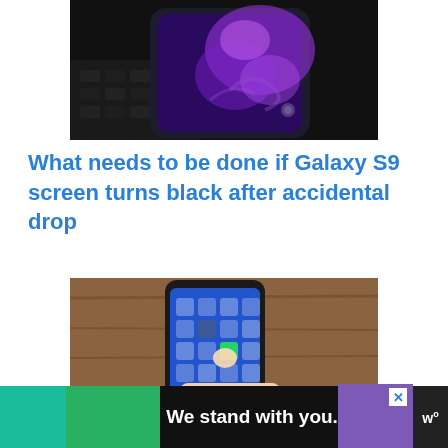[Figure (photo): Samsung Galaxy S9 smartphone lying on dark surface with glowing purple/violet light effect on screen]
What needs to be done if Galaxy S9 screen turns black after accidental drop
[Figure (photo): Hand holding a Samsung smartphone showing home screen with app icons, wooden table background]
[Figure (other): Advertisement banner: 'We stand with you.' with teal, green, and purple color blocks and a close button]